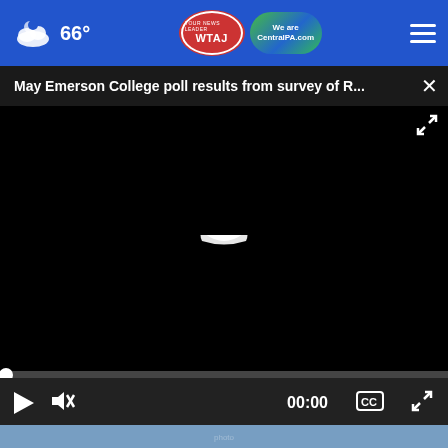66° WTAJ CentralPA.com
May Emerson College poll results from survey of R... ×
[Figure (screenshot): Black video player area with white loading spinner shape in center, video progress bar at bottom showing 00:00, play button, mute button, time display, CC button, and fullscreen button]
[Figure (photo): People in blue work shirts/uniforms standing near a car outdoors]
[Figure (other): Advertisement banner: CERTIFIED PRE-OWNED LION COUNTRY KIA - VIEW INVENTORY with images of red and blue SUVs]